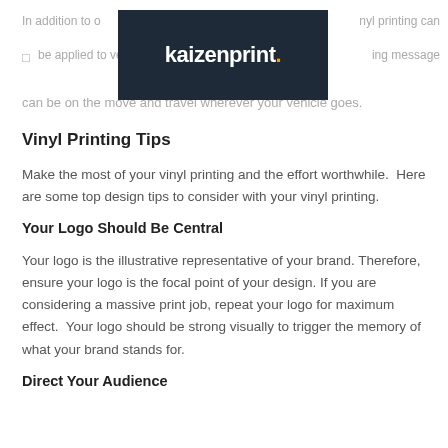In addition to offering vinyl printing can be applied to vehicles, marketing message can be on the move and travel wherever your vehicle goes.
[Figure (logo): Kaizenprint logo — white bold text 'kaizenprint.' with orange dot on dark navy background]
Vinyl Printing Tips
Make the most of your vinyl printing and the effort worthwhile.  Here are some top design tips to consider with your vinyl printing.
Your Logo Should Be Central
Your logo is the illustrative representative of your brand.  Therefore, ensure your logo is the focal point of your design.  If you are considering a massive print job, repeat your logo for maximum effect.  Your logo should be strong visually to trigger the memory of what your brand stands for.
Direct Your Audience